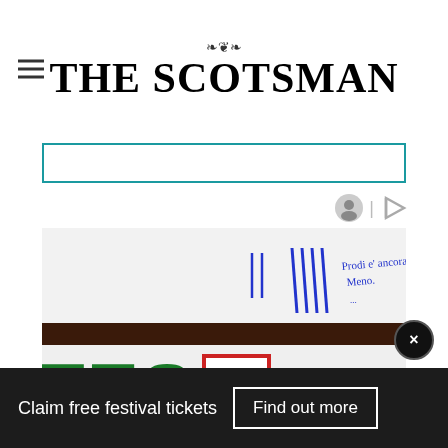THE SCOTSMAN
[Figure (photo): Photograph of the exterior sign of an Intesa Sanpaolo bank branch, showing green letters 'TESA' and 'SANPAOLO' with the red and white logo in between. Blue handwritten-style graffiti visible at the top of the image.]
Claim free festival tickets
Find out more